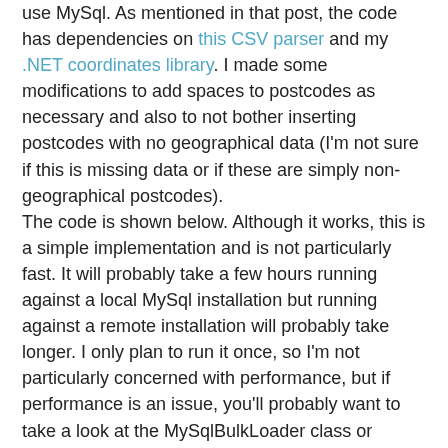use MySql. As mentioned in that post, the code has dependencies on this CSV parser and my .NET coordinates library. I made some modifications to add spaces to postcodes as necessary and also to not bother inserting postcodes with no geographical data (I'm not sure if this is missing data or if these are simply non-geographical postcodes).
The code is shown below. Although it works, this is a simple implementation and is not particularly fast. It will probably take a few hours running against a local MySql installation but running against a remote installation will probably take longer. I only plan to run it once, so I'm not particularly concerned with performance, but if performance is an issue, you'll probably want to take a look at the MySqlBulkLoader class or peruse the MySql documentation on improving the performance of inserts.
using System;
using System.IO;
using DotNetCoords;
using LumenWorks.Framework.IO.Csv;
using MySql.Data.MySqlClient;